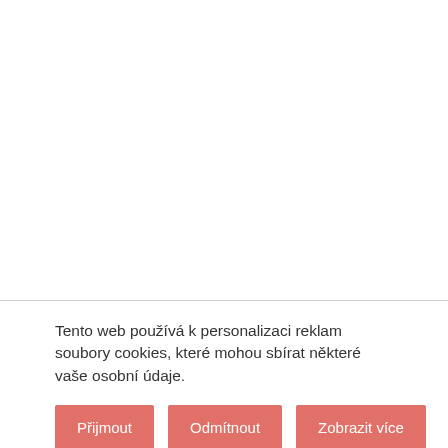Tento web používá k personalizaci reklam soubory cookies, které mohou sbírat některé vaše osobní údaje.
Přijmout
Odmítnout
Zobrazit více